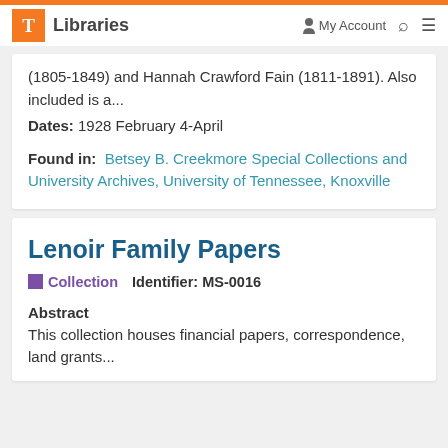T Libraries  My Account  [search] [menu]
(1805-1849) and Hannah Crawford Fain (1811-1891). Also included is a...
Dates: 1928 February 4-April
Found in: Betsey B. Creekmore Special Collections and University Archives, University of Tennessee, Knoxville
Lenoir Family Papers
Collection  Identifier: MS-0016
Abstract
This collection houses financial papers, correspondence, land grants...